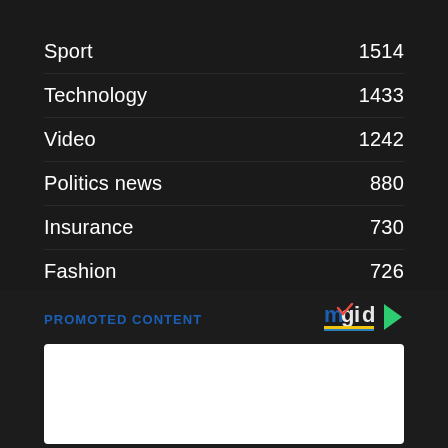Sport 1514
Technology 1433
Video 1242
Politics news 880
Insurance 730
Fashion 726
Photography 375
Recipes 0
PROMOTED CONTENT
[Figure (logo): mgid logo with play button icon]